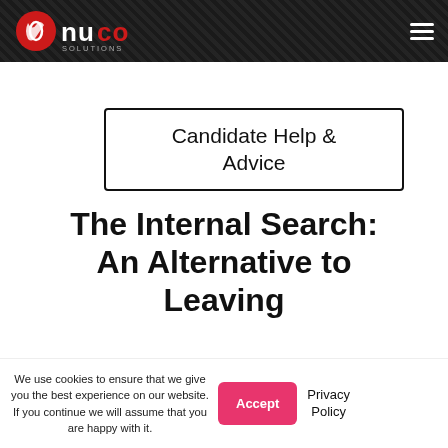NuCo Solutions — navigation header
Candidate Help & Advice
The Internal Search: An Alternative to Leaving
We use cookies to ensure that we give you the best experience on our website. If you continue we will assume that you are happy with it.